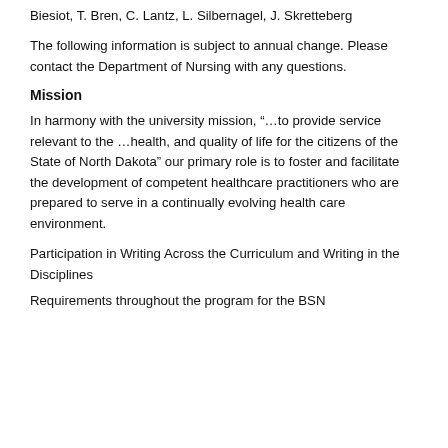Biesiot, T. Bren, C. Lantz, L. Silbernagel, J. Skretteberg
The following information is subject to annual change. Please contact the Department of Nursing with any questions.
Mission
In harmony with the university mission, “…to provide service relevant to the …health, and quality of life for the citizens of the State of North Dakota” our primary role is to foster and facilitate the development of competent healthcare practitioners who are prepared to serve in a continually evolving health care environment.
Participation in Writing Across the Curriculum and Writing in the Disciplines
Requirements throughout the program for the BSN